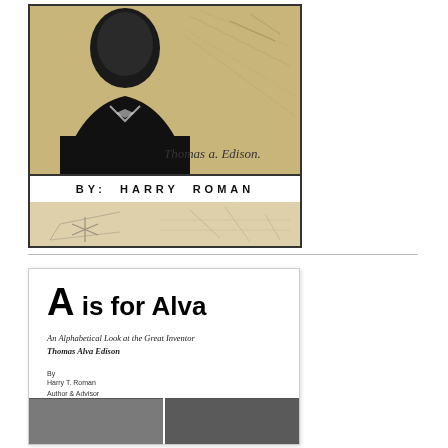[Figure (illustration): Book cover of a Thomas Edison book showing a black-and-white portrait photo of an older Edison overlaid on yellowed blueprint/sketch background, with the signature 'Thomas A. Edison' in cursive. Below the portrait is a white bar with 'BY: HARRY ROMAN' in bold spaced text, and below that a sketched mechanical diagram area.]
[Figure (screenshot): Preview of the book interior title page showing the title 'A is for Alva', subtitle 'An Alphabetical Look at the Great Inventor Thomas Alva Edison', author credit 'By Harry T. Roman, Author & Advisor, Edison Innovation Foundation', and partial images at the bottom.]